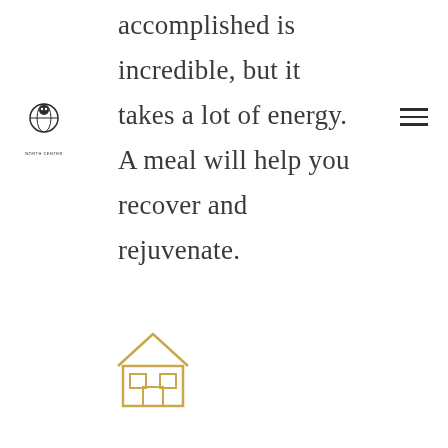[Figure (logo): Small circular logo with globe/owl icon and text beneath, positioned at left side]
[Figure (other): Hamburger menu icon (three horizontal lines) at top right]
accomplished is incredible, but it takes a lot of energy. A meal will help you recover and rejuvenate.
[Figure (illustration): Gold/yellow outline icon of a house with two windows and a door]